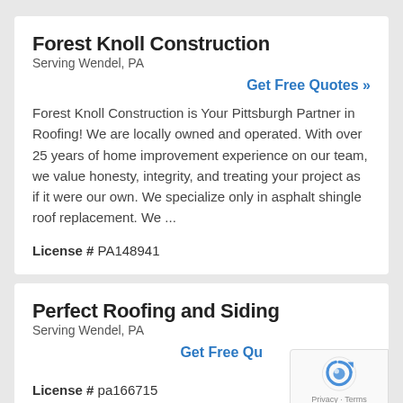Forest Knoll Construction
Serving Wendel, PA
Get Free Quotes »
Forest Knoll Construction is Your Pittsburgh Partner in Roofing! We are locally owned and operated. With over 25 years of home improvement experience on our team, we value honesty, integrity, and treating your project as if it were our own. We specialize only in asphalt shingle roof replacement. We ...
License # PA148941
Perfect Roofing and Siding
Serving Wendel, PA
Get Free Qu
License # pa166715